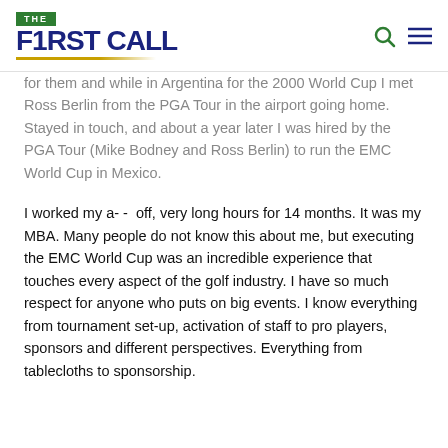THE FIRST CALL
for them and while in Argentina for the 2000 World Cup I met Ross Berlin from the PGA Tour in the airport going home. Stayed in touch, and about a year later I was hired by the PGA Tour (Mike Bodney and Ross Berlin) to run the EMC World Cup in Mexico.
I worked my a- -  off, very long hours for 14 months. It was my MBA. Many people do not know this about me, but executing the EMC World Cup was an incredible experience that touches every aspect of the golf industry. I have so much respect for anyone who puts on big events. I know everything from tournament set-up, activation of staff to pro players, sponsors and different perspectives. Everything from tablecloths to sponsorship.